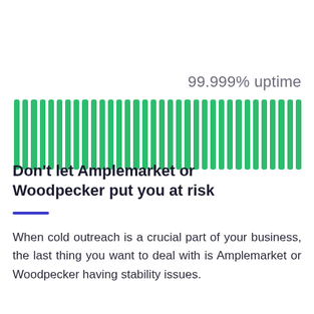[Figure (infographic): Uptime indicator showing 99.999% uptime label above a row of tall green vertical bars filling the width of the page, representing near-perfect uptime status.]
Don't let Amplemarket or Woodpecker put you at risk
When cold outreach is a crucial part of your business, the last thing you want to deal with is Amplemarket or Woodpecker having stability issues.